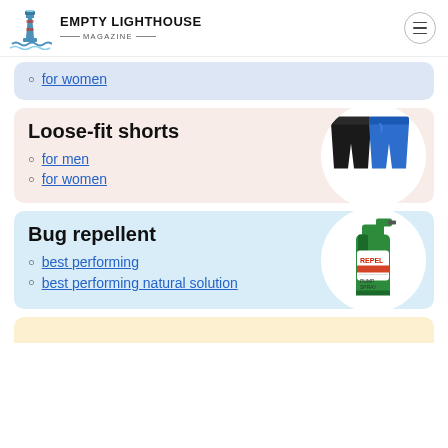EMPTY LIGHTHOUSE MAGAZINE
for women
Loose-fit shorts
for men
for women
Bug repellent
best performing
best performing natural solution